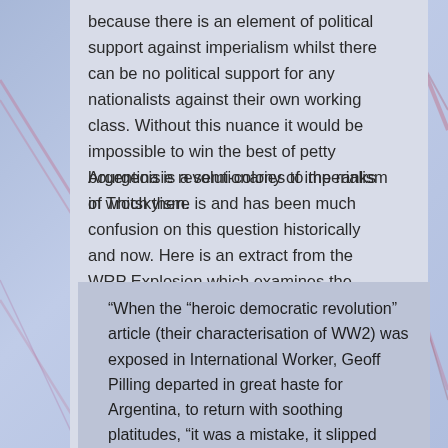because there is an element of political support against imperialism whilst there can be no political support for any nationalists against their own working class. Without this nuance it would be impossible to win the best of petty bourgeoisie revolutionaries to the ranks of Trotskyism.
Argentina is a semi-colony of imperialism in which there is and has been much confusion on this question historically and now. Here is an extract from the WRP Explosion which examines the position of the opportunist self-declared Nahuel Moreno's position on it:
“When the “heroic democratic revolution” article (their characterisation of WW2) was exposed in International Worker, Geoff Pilling departed in great haste for Argentina, to return with soothing platitudes, “it was a mistake, it slipped